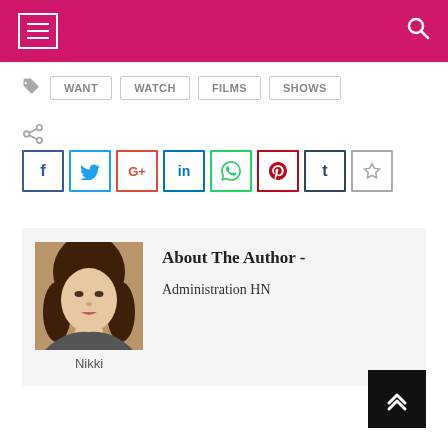Navigation header with hamburger menu and search icon
WANT
WATCH
FILMS
SHOWS
[Figure (infographic): Social share buttons row: Facebook, Twitter, Google+, LinkedIn, WhatsApp, Pinterest, Tumblr, Star/Bookmark]
About The Author -
Administration HN
Nikki